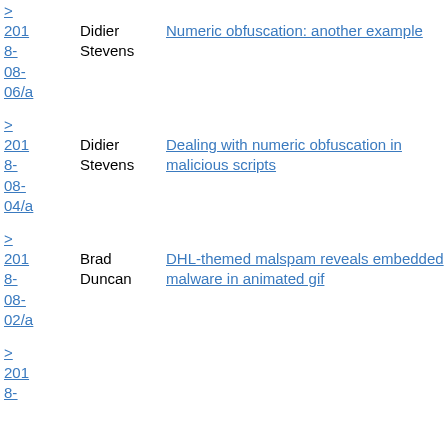> 2018-08-06/a Didier Stevens Numeric obfuscation: another example
> 2018-08-04/a Didier Stevens Dealing with numeric obfuscation in malicious scripts
> 2018-08-02/a Brad Duncan DHL-themed malspam reveals embedded malware in animated gif
> 2018-